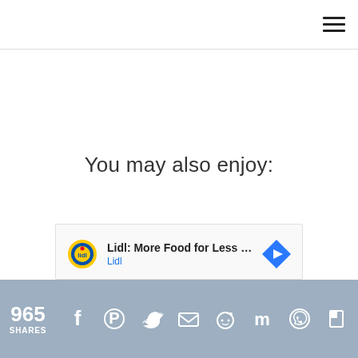You may also enjoy:
[Figure (other): Advertisement banner: Lidl logo with text 'Lidl: More Food for Less Money' and 'Lidl' link, with a navigation arrow icon]
965 SHARES — Social share bar with Facebook, Pinterest, Twitter, Email, Reddit, Mix, WhatsApp, Flipboard icons